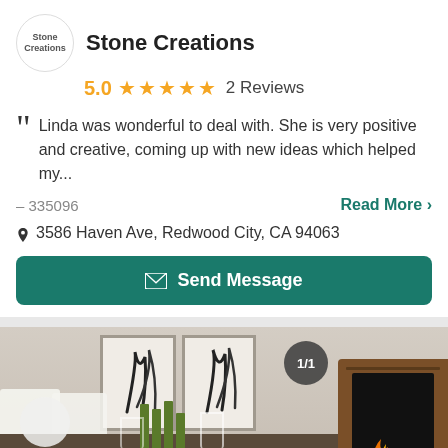Stone Creations
5.0   2 Reviews
Linda was wonderful to deal with. She is very positive and creative, coming up with new ideas which helped my...
– 335096
Read More >
3586 Haven Ave, Redwood City, CA 94063
Send Message
[Figure (photo): Interior dining room scene with wall art, a wooden fireplace unit with flames, and a dining table with bottles and chairs. Badge showing 1/1 in corner.]